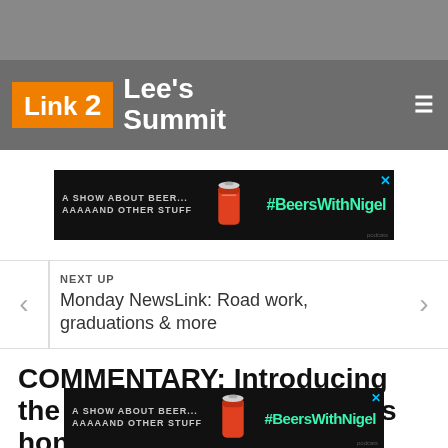[Figure (logo): Link 2 Lee's Summit website logo on dark gray navigation bar]
[Figure (infographic): Advertisement banner: A SHOW ABOUT BEER... AAAAAND OTHER STUFF #BeersWithNigel podcast ad on black background]
NEXT UP
Monday NewsLink: Road work, graduations & more
COMMENTARY: Introducing the 2022 Toast to Our Towns honorees
Phil Ha...
[Figure (infographic): Bottom advertisement banner: A SHOW ABOUT BEER... AAAAAND OTHER STUFF #BeersWithNigel podcast ad on black background]